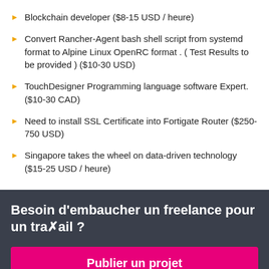Blockchain developer ($8-15 USD / heure)
Convert Rancher-Agent bash shell script from systemd format to Alpine Linux OpenRC format . ( Test Results to be provided ) ($10-30 USD)
TouchDesigner Programming language software Expert. ($10-30 CAD)
Need to install SSL Certificate into Fortigate Router ($250-750 USD)
Singapore takes the wheel on data-driven technology ($15-25 USD / heure)
Besoin d'embaucher un freelance pour un travail ?
Publier un projet